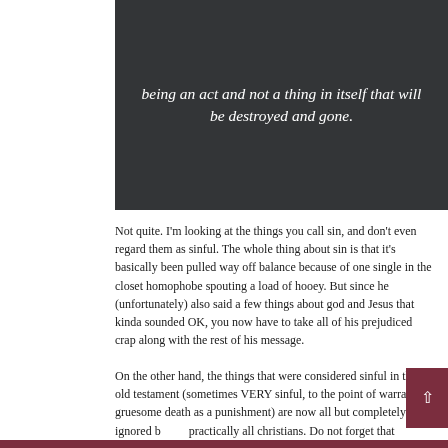being an act and not a thing in itself that will be destroyed and gone.
Not quite. I'm looking at the things you call sin, and don't even regard them as sinful. The whole thing about sin is that it's basically been pulled way off balance because of one single in the closet homophobe spouting a load of hooey. But since he (unfortunately) also said a few things about god and Jesus that kinda sounded OK, you now have to take all of his prejudiced crap along with the rest of his message.
On the other hand, the things that were considered sinful in the old testament (sometimes VERY sinful, to the point of warranting gruesome death as a punishment) are now all but completely ignored by practically all christians. Do not forget that working on the Sabbath is a sin. So is wearing mixed fabrics,